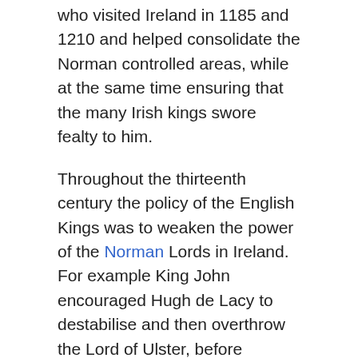who visited Ireland in 1185 and 1210 and helped consolidate the Norman controlled areas, while at the same time ensuring that the many Irish kings swore fealty to him.
Throughout the thirteenth century the policy of the English Kings was to weaken the power of the Norman Lords in Ireland. For example King John encouraged Hugh de Lacy to destabilise and then overthrow the Lord of Ulster, before creating him to the Earl of Ulster. The Hiberno-Norman community suffered from a series of invasions that ceased the spread of their settlement and power. Politics and events in Gaelic Ireland served to draw the settlers deeper into the orbit of the Irish.
By 1261 the weakening of the Normans had become manifest when Fineen Mac Carthy defeated a Norman army at the Battle of Callann. The war continued between the different lords and earls for about 100